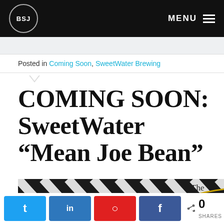BSJ | MENU
Posted in Coming Soon, SweetWater Brewing
COMING SOON: SweetWater “Mean Joe Bean”
[Figure (photo): SweetWater Brewing Company beer label with black and white striped background and yellow accents]
The next up in
Social share buttons: Twitter, LinkedIn, Pinterest, Facebook | 0 SHARES